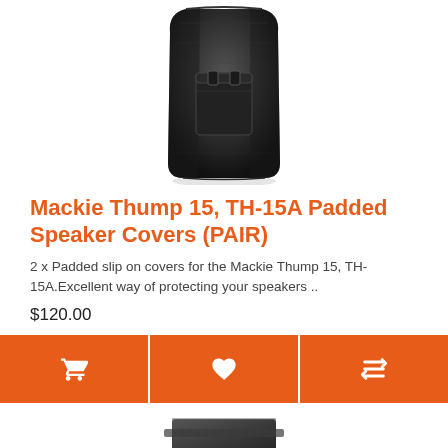[Figure (photo): Black padded speaker cover bag for Mackie Thump 15 TH-15A, photographed standing upright showing front with zipper pocket]
Mackie Thump 15, TH-15A Padded Speaker Covers (PAIR)
2 x Padded slip on covers for the Mackie Thump 15, TH-15A.Excellent way of protecting your speakers ..
$120.00
[Figure (photo): Partial view of another product at the bottom of the page]